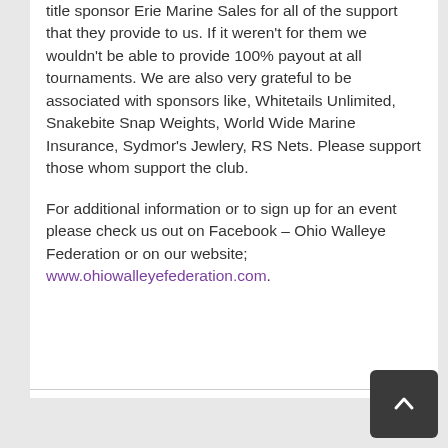title sponsor Erie Marine Sales for all of the support that they provide to us. If it weren't for them we wouldn't be able to provide 100% payout at all tournaments. We are also very grateful to be associated with sponsors like, Whitetails Unlimited, Snakebite Snap Weights, World Wide Marine Insurance, Sydmor's Jewlery, RS Nets. Please support those whom support the club.
For additional information or to sign up for an event please check us out on Facebook – Ohio Walleye Federation or on our website; www.ohiowalleyefederation.com.